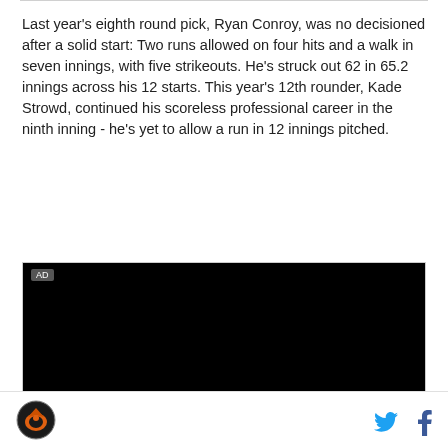Last year's eighth round pick, Ryan Conroy, was no decisioned after a solid start: Two runs allowed on four hits and a walk in seven innings, with five strikeouts. He's struck out 62 in 65.2 innings across his 12 starts. This year's 12th rounder, Kade Strowd, continued his scoreless professional career in the ninth inning - he's yet to allow a run in 12 innings pitched.
[Figure (other): Black advertisement box with 'AD' label in upper left corner]
[Figure (logo): Circular sports team logo with orange/black color scheme, bottom left footer]